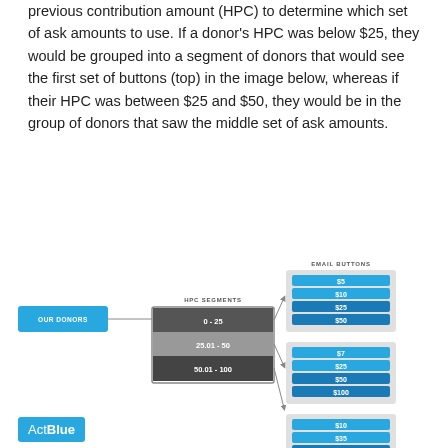previous contribution amount (HPC) to determine which set of ask amounts to use. If a donor's HPC was below $25, they would be grouped into a segment of donors that would see the first set of buttons (top) in the image below, whereas if their HPC was between $25 and $50, they would be in the group of donors that saw the middle set of ask amounts.
[Figure (infographic): Diagram showing how OUR DONORS are segmented by HPC SEGMENTS (0-25, 25.01-50, 50.01-100) which map via arrows to three groups of EMAIL BUTTONS: group 1 ($5, $10, $25, $50), group 2 ($7, $25, $50, $100), group 3 ($10, $35, $75, $100).]
[Figure (logo): ActBlue logo in blue rounded rectangle]